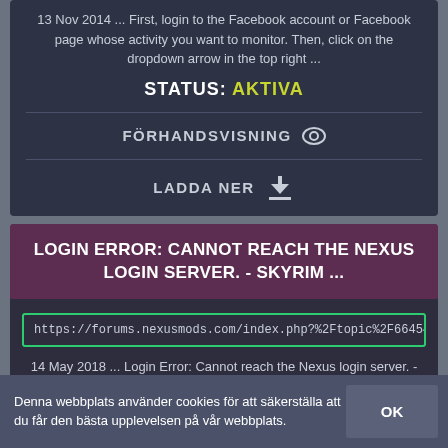13 Nov 2014 ... First, login to the Facebook account or Facebook page whose activity you want to monitor. Then, click on the dropdown arrow in the top right ...
STATUS: AKTIVA
FÖRHANDSVISNING 👁
LADDA NER ⬇
LOGIN ERROR: CANNOT REACH THE NEXUS LOGIN SERVER. - SKYRIM ...
https://forums.nexusmods.com/index.php?%2Ftopic%2F6645426-login
14 May 2018 ... Login Error: Cannot reach the Nexus login server. - posted in Skyrim Technical Support: So yeah, I get this whenever I try logging in to NMM, ...
Denna webbplats använder cookies för att säkerställa att du får den bästa upplevelsen på vår webbplats.